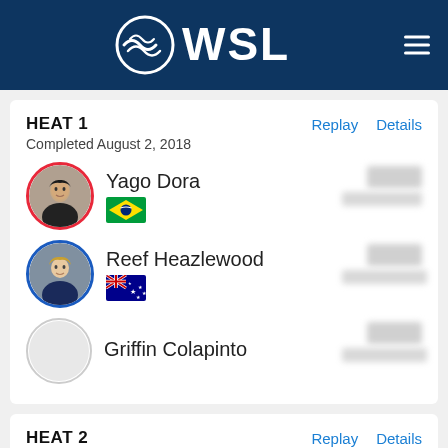[Figure (logo): WSL (World Surf League) logo — white wave icon and WSL text on dark blue header background, with hamburger menu icon on the right]
HEAT 1
Completed August 2, 2018
Yago Dora — Brazil — score blurred
Reef Heazlewood — Australia — score blurred
Griffin Colapinto — score blurred
HEAT 2
Completed August 2, 2018